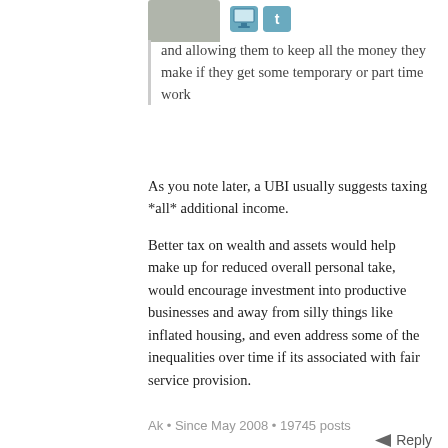[Figure (illustration): Gray avatar icon (partial, top of page) with monitor and Twitter social icons next to it]
and allowing them to keep all the money they make if they get some temporary or part time work
As you note later, a UBI usually suggests taxing *all* additional income.

Better tax on wealth and assets would help make up for reduced overall personal take, would encourage investment into productive businesses and away from silly things like inflated housing, and even address some of the inequalities over time if its associated with fair service provision.
Ak • Since May 2008 • 19745 posts
Reply
[Figure (illustration): Gray avatar icon for Sacha with monitor and Twitter icons]
Sacha, in reply to Rosie, 9 years ago
It depends on a flat rate of income tax
Libertarians put it that way, but I know of nothing...